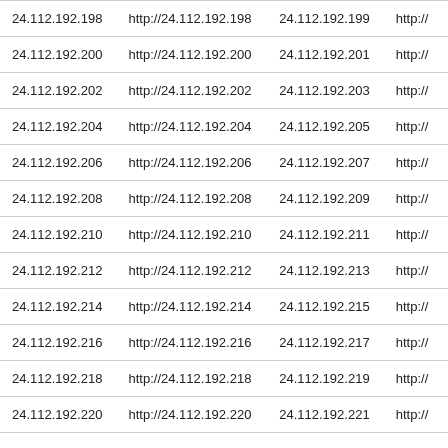| 24.112.192.198 | http://24.112.192.198 | 24.112.192.199 | http:// |
| 24.112.192.200 | http://24.112.192.200 | 24.112.192.201 | http:// |
| 24.112.192.202 | http://24.112.192.202 | 24.112.192.203 | http:// |
| 24.112.192.204 | http://24.112.192.204 | 24.112.192.205 | http:// |
| 24.112.192.206 | http://24.112.192.206 | 24.112.192.207 | http:// |
| 24.112.192.208 | http://24.112.192.208 | 24.112.192.209 | http:// |
| 24.112.192.210 | http://24.112.192.210 | 24.112.192.211 | http:// |
| 24.112.192.212 | http://24.112.192.212 | 24.112.192.213 | http:// |
| 24.112.192.214 | http://24.112.192.214 | 24.112.192.215 | http:// |
| 24.112.192.216 | http://24.112.192.216 | 24.112.192.217 | http:// |
| 24.112.192.218 | http://24.112.192.218 | 24.112.192.219 | http:// |
| 24.112.192.220 | http://24.112.192.220 | 24.112.192.221 | http:// |